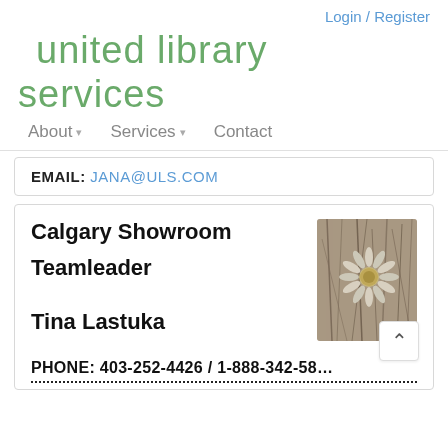Login / Register
united library services
About ▾
Services ▾
Contact
EMAIL: JANA@ULS.COM
Calgary Showroom
Teamleader
[Figure (photo): Close-up photo of a white daisy flower among dried grass, with a vintage/muted tone]
Tina Lastuka
PHONE: 403-252-4426 / 1-888-342-58…